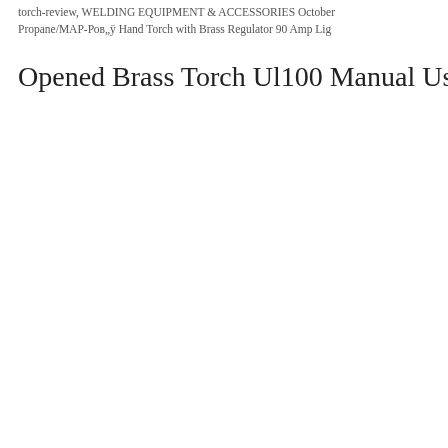torch-review, WELDING EQUIPMENT & ACCESSORIES October Propane/MAP-Ров„ÿ Hand Torch with Brass Regulator 90 Amp Lig
Opened Brass Torch Ul100 Manual Usa Bernzomatic P